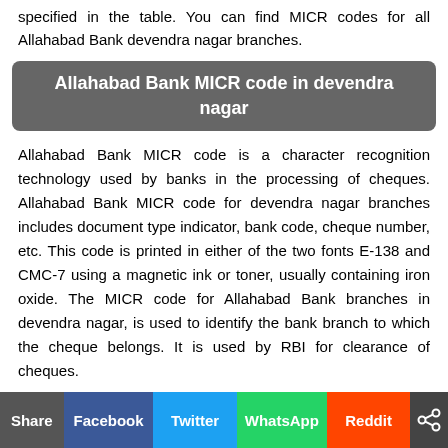specified in the table. You can find MICR codes for all Allahabad Bank devendra nagar branches.
Allahabad Bank MICR code in devendra nagar
Allahabad Bank MICR code is a character recognition technology used by banks in the processing of cheques. Allahabad Bank MICR code for devendra nagar branches includes document type indicator, bank code, cheque number, etc. This code is printed in either of the two fonts E-138 and CMC-7 using a magnetic ink or toner, usually containing iron oxide. The MICR code for Allahabad Bank branches in devendra nagar, is used to identify the bank branch to which the cheque belongs. It is used by RBI for clearance of cheques.
How does Allahabad Bank MICR code for devendra nagar branches speed up the